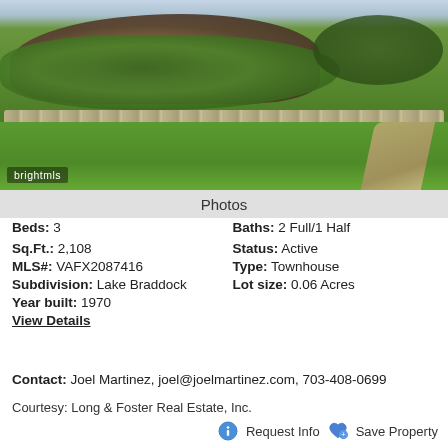[Figure (photo): Outdoor garden/backyard photo showing green landscaping with rock mound, shrubs, stone border edging, lush green lawn, and a path on the right side. 'brightmls' watermark visible in lower left corner.]
Photos
Beds: 3   Baths: 2 Full/1 Half
Sq.Ft.: 2,108   Status: Active
MLS#: VAFX2087416   Type: Townhouse
Subdivision: Lake Braddock   Lot size: 0.06 Acres
Year built: 1970
View Details
Contact: Joel Martinez, joel@joelmartinez.com, 703-408-0699
Courtesy: Long & Foster Real Estate, Inc.
Request Info   Save Property